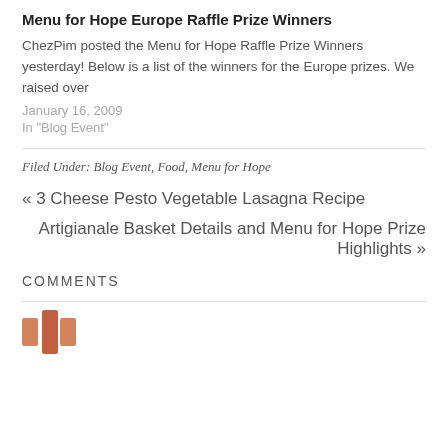Menu for Hope Europe Raffle Prize Winners
ChezPim posted the Menu for Hope Raffle Prize Winners yesterday! Below is a list of the winners for the Europe prizes. We raised over
January 16, 2009
In "Blog Event"
Filed Under: Blog Event, Food, Menu for Hope
« 3 Cheese Pesto Vegetable Lasagna Recipe
Artigianale Basket Details and Menu for Hope Prize Highlights »
COMMENTS
[Figure (illustration): Orange/red illustrated avatar or logo mark at bottom of page]